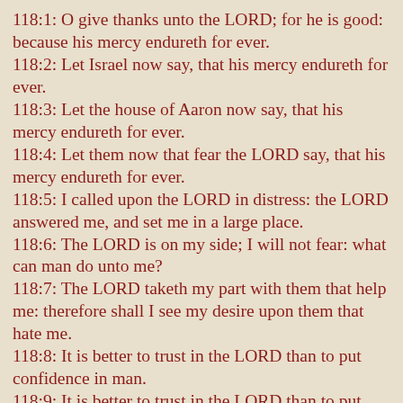118:1: O give thanks unto the LORD; for he is good: because his mercy endureth for ever.
118:2: Let Israel now say, that his mercy endureth for ever.
118:3: Let the house of Aaron now say, that his mercy endureth for ever.
118:4: Let them now that fear the LORD say, that his mercy endureth for ever.
118:5: I called upon the LORD in distress: the LORD answered me, and set me in a large place.
118:6: The LORD is on my side; I will not fear: what can man do unto me?
118:7: The LORD taketh my part with them that help me: therefore shall I see my desire upon them that hate me.
118:8: It is better to trust in the LORD than to put confidence in man.
118:9: It is better to trust in the LORD than to put confidence in princes.
118:10: All nations compassed me about: but in the name of the LORD will I destroy them.
118:11: They compassed me about; yea, they compassed me about: but in the name of the LORD I will destroy them.